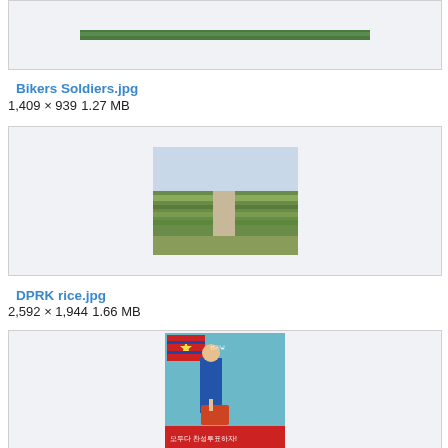[Figure (photo): Partial top thumbnail of a landscape/soldiers photo (Bikers Soldiers.jpg), cropped at top of page]
Bikers Soldiers.jpg
1,409 × 939 1.27 MB
[Figure (photo): Aerial photograph of green rice fields and a river (DPRK rice.jpg)]
DPRK rice.jpg
2,592 × 1,944 1.66 MB
[Figure (photo): North Korean propaganda poster showing a man in a suit with the DPRK flag, Korean text including 모두다 찬성투표하자!]